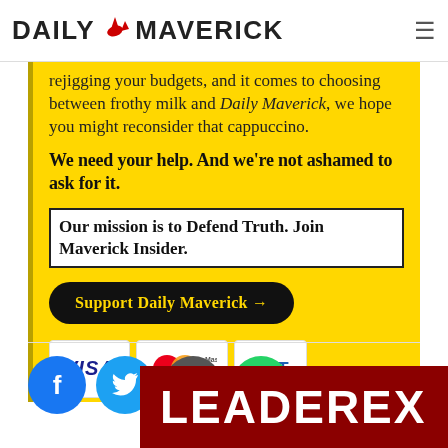DAILY MAVERICK
rejigging your budgets, and it comes to choosing between frothy milk and Daily Maverick, we hope you might reconsider that cappuccino.
We need your help. And we're not ashamed to ask for it.
Our mission is to Defend Truth. Join Maverick Insider.
Support Daily Maverick →
[Figure (infographic): Payment method icons: VISA, MasterCard, EFT]
[Figure (infographic): Social media share icons: Facebook, Twitter, Email, WhatsApp]
[Figure (logo): LeaderFX advertisement banner in dark red]